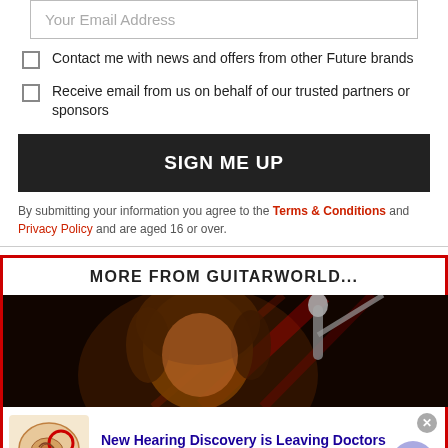Your Email Address
Contact me with news and offers from other Future brands
Receive email from us on behalf of our trusted partners or sponsors
SIGN ME UP
By submitting your information you agree to the Terms & Conditions and Privacy Policy and are aged 16 or over.
MORE FROM GUITARWORLD...
[Figure (photo): Concert photo of a performer with long curly hair singing into a microphone, lit with red stage lighting against a dark background]
New Hearing Discovery is Leaving Doctors
n/a